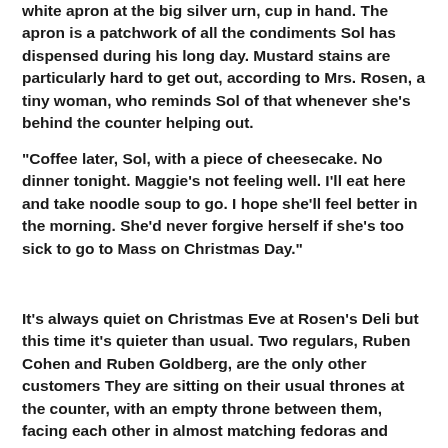white apron at the big silver urn, cup in hand. The apron is a patchwork of all the condiments Sol has dispensed during his long day. Mustard stains are particularly hard to get out, according to Mrs. Rosen, a tiny woman, who reminds Sol of that whenever she's behind the counter helping out.
"Coffee later, Sol, with a piece of cheesecake. No dinner tonight. Maggie's not feeling well. I'll eat here and take noodle soup to go. I hope she'll feel better in the morning. She'd never forgive herself if she's too sick to go to Mass on Christmas Day."
It's always quiet on Christmas Eve at Rosen's Deli but this time it's quieter than usual. Two regulars, Ruben Cohen and Ruben Goldberg, are the only other customers They are sitting on their usual thrones at the counter, with an empty throne between them, facing each other in almost matching fedoras and arguing as always about the definition of certain Yiddish words.
Cohen and Goldberg have been arguing about the fine points--and not so fine points--of the Yiddish language for